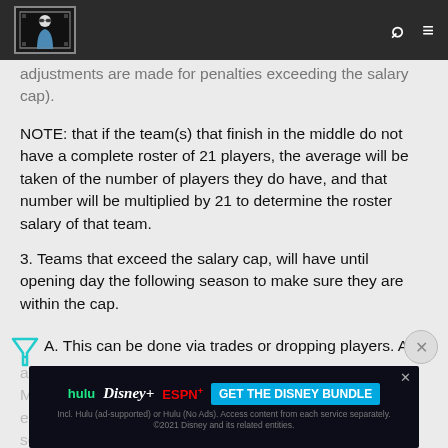[Site header with logo, search icon, and menu icon]
adjustments are made for penalties exceeding the salary cap).
NOTE: that if the team(s) that finish in the middle do not have a complete roster of 21 players, the average will be taken of the number of players they do have, and that number will be multiplied by 21 to determine the roster salary of that team.
3. Teams that exceed the salary cap, will have until opening day the following season to make sure they are within the cap.
A. This can be done via trades or dropping players. At any point in the year, the current roster on any team MUST... team exceed... scores per day per million (minimum of one point per
[Figure (screenshot): GET THE DISNEY BUNDLE advertisement banner with hulu, Disney+, ESPN+ logos and fine print]